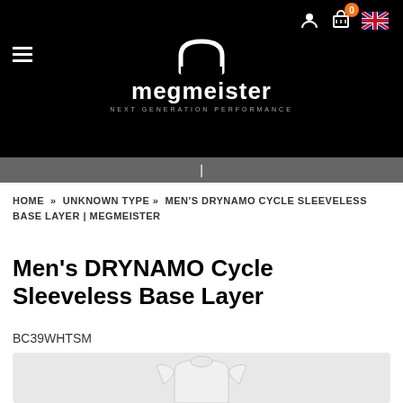[Figure (screenshot): Megmeister website header with black background, user icon, shopping cart with orange badge showing 0, UK flag icon, hamburger menu, and Megmeister logo with arch icon and tagline NEXT GENERATION PERFORMANCE]
HOME » UNKNOWN TYPE » MEN'S DRYNAMO CYCLE SLEEVELESS BASE LAYER | MEGMEISTER
Men's DRYNAMO Cycle Sleeveless Base Layer
BC39WHTSM
[Figure (photo): Partial product image of a white sleeveless cycling base layer on light grey background]